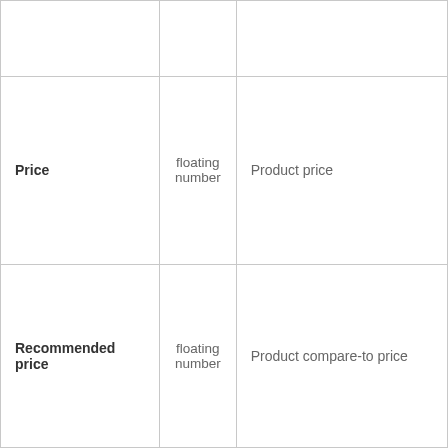|  |  |  |
| Price | floating number | Product price |
| Recommended price | floating number | Product compare-to price |